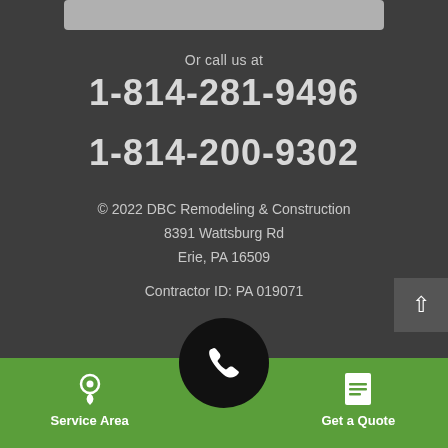[Figure (other): Gray input bar at the top of the dark section]
Or call us at
1-814-281-9496
1-814-200-9302
© 2022 DBC Remodeling & Construction
8391 Wattsburg Rd
Erie, PA 16509
Contractor ID: PA 019071
[Figure (other): Scroll-to-top button with up arrow]
[Figure (other): Phone call button circle with phone icon]
Service Area
Get a Quote